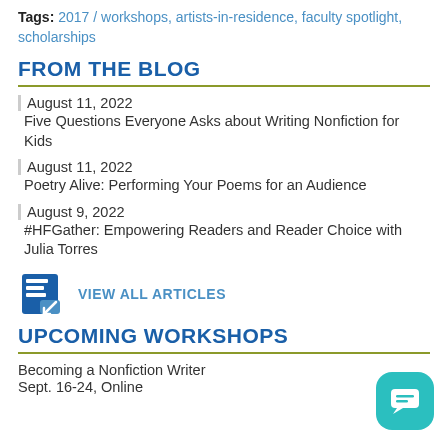Tags: 2017 / workshops, artists-in-residence, faculty spotlight, scholarships
FROM THE BLOG
August 11, 2022
Five Questions Everyone Asks about Writing Nonfiction for Kids
August 11, 2022
Poetry Alive: Performing Your Poems for an Audience
August 9, 2022
#HFGather: Empowering Readers and Reader Choice with Julia Torres
VIEW ALL ARTICLES
UPCOMING WORKSHOPS
Becoming a Nonfiction Writer
Sept. 16-24, Online